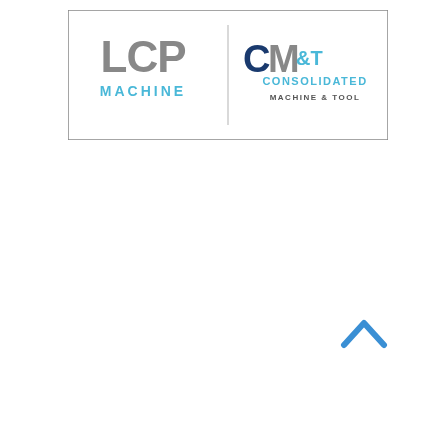[Figure (logo): Combined logo banner with two company logos: LCP MACHINE (gray/blue) on the left and CM&T CONSOLIDATED MACHINE & TOOL (dark blue/blue) on the right, separated by a vertical line, inside a bordered rectangle]
[Figure (other): A blue upward-pointing chevron/caret icon in the lower right area of the page]